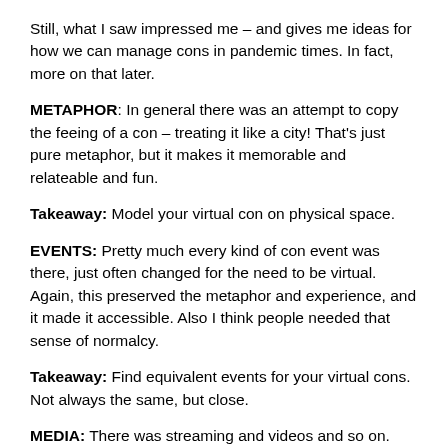Still, what I saw impressed me – and gives me ideas for how we can manage cons in pandemic times. In fact, more on that later.
METAPHOR: In general there was an attempt to copy the feeing of a con – treating it like a city! That's just pure metaphor, but it makes it memorable and relateable and fun.
Takeaway: Model your virtual con on physical space.
EVENTS: Pretty much every kind of con event was there, just often changed for the need to be virtual. Again, this preserved the metaphor and experience, and it made it accessible. Also I think people needed that sense of normalcy.
Takeaway: Find equivalent events for your virtual cons. Not always the same, but close.
MEDIA: There was streaming and videos and so on. Wisely, there was chat so people could, well, chat – while being on the page. Discord type stuff is nice, but